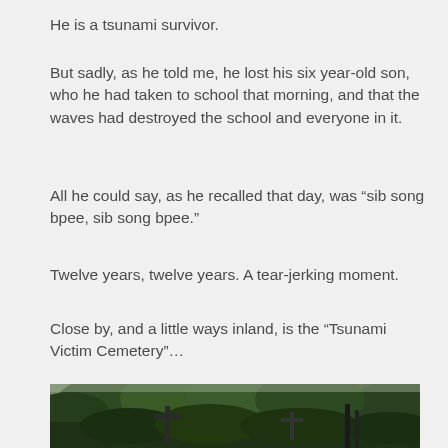He is a tsunami survivor.
But sadly, as he told me, he lost his six year-old son, who he had taken to school that morning, and that the waves had destroyed the school and everyone in it.
All he could say, as he recalled that day, was “sib song bpee, sib song bpee.”
Twelve years, twelve years. A tear-jerking moment.
Close by, and a little ways inland, is the “Tsunami Victim Cemetery”…
[Figure (photo): Outdoor cemetery scene with lush green trees and crosses/grave markers visible among the foliage, overcast sky.]